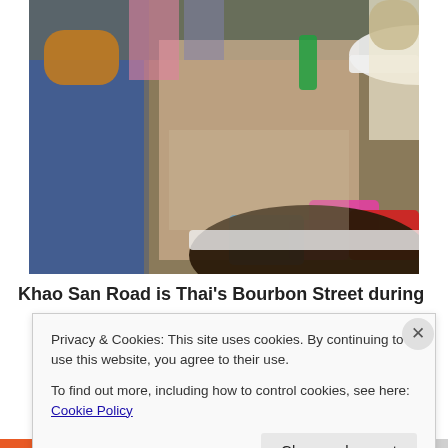[Figure (photo): Crowded outdoor street scene during Songkran (Thai New Year/water festival). People of various ages are gathered. A woman with a white cap and white t-shirt is prominent in the center-right. A boy in a blue shirt stands on the left. Colorful buckets (pink, red, blue) with water and objects are visible on the right side. The scene is lively and sunny.]
Khao San Road is Thai's Bourbon Street during Mardi
Privacy & Cookies: This site uses cookies. By continuing to use this website, you agree to their use.
To find out more, including how to control cookies, see here: Cookie Policy
Close and accept